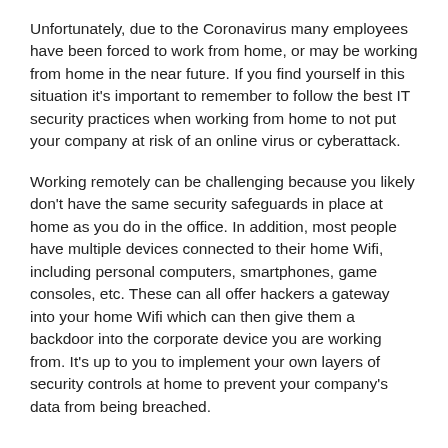Unfortunately, due to the Coronavirus many employees have been forced to work from home, or may be working from home in the near future. If you find yourself in this situation it's important to remember to follow the best IT security practices when working from home to not put your company at risk of an online virus or cyberattack.
Working remotely can be challenging because you likely don't have the same security safeguards in place at home as you do in the office. In addition, most people have multiple devices connected to their home Wifi, including personal computers, smartphones, game consoles, etc. These can all offer hackers a gateway into your home Wifi which can then give them a backdoor into the corporate device you are working from. It's up to you to implement your own layers of security controls at home to prevent your company's data from being breached.